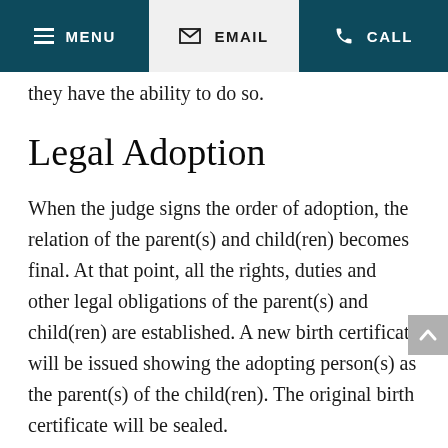MENU  EMAIL  CALL
they have the ability to do so.
Legal Adoption
When the judge signs the order of adoption, the relation of the parent(s) and child(ren) becomes final. At that point, all the rights, duties and other legal obligations of the parent(s) and child(ren) are established. A new birth certificate will be issued showing the adopting person(s) as the parent(s) of the child(ren). The original birth certificate will be sealed.